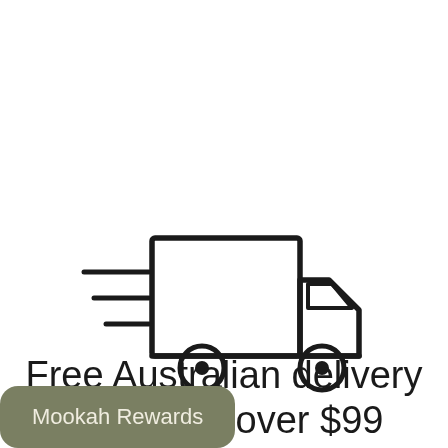[Figure (illustration): Line drawing icon of a delivery truck moving fast, with speed lines on the left side]
Free Australian delivery on orders over $99
Mookah Rewards